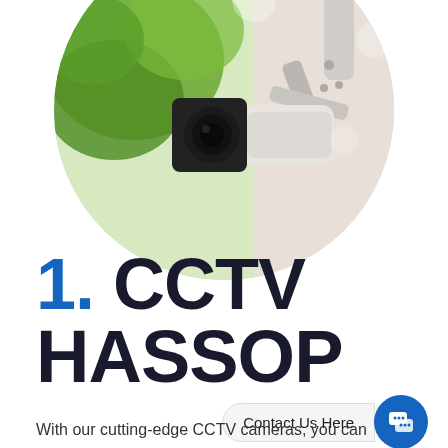[Figure (photo): Circular cropped photo of a white CCTV bullet camera mounted on a white bracket arm, with green tree foliage visible in the background]
1. CCTV HASSOP
Contact Us Here
With our cutting-edge CCTV cameras, you can